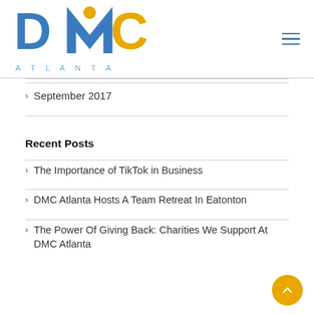[Figure (logo): DMC Atlanta logo with blue 'DMC' letters and yellow circle/figure, 'ATLANTA' text below in blue]
September 2017
Recent Posts
The Importance of TikTok in Business
DMC Atlanta Hosts A Team Retreat In Eatonton
The Power Of Giving Back: Charities We Support At DMC Atlanta